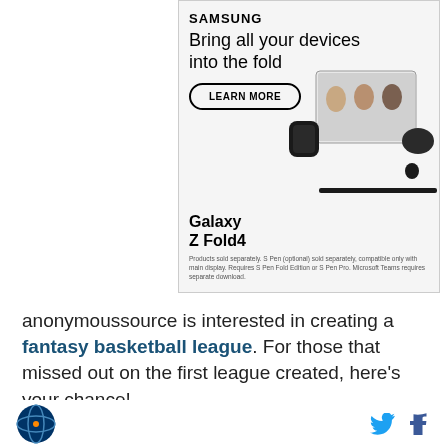[Figure (infographic): Samsung advertisement for Galaxy Z Fold4. Shows 'SAMSUNG' logo at top, headline 'Bring all your devices into the fold', a 'LEARN MORE' button, product image with phone, smartwatch, earbuds and stylus, 'Galaxy Z Fold4' product name, and fine print disclaimer.]
anonymoussource is interested in creating a fantasy basketball league. For those that missed out on the first league created, here’s your chance!
ukraineisnotweak is interested in your thoughts on the